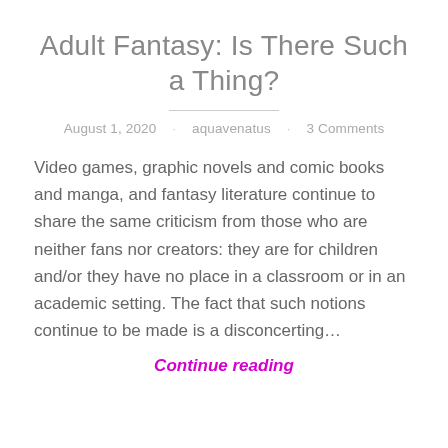Adult Fantasy: Is There Such a Thing?
August 1, 2020 · aquavenatus · 3 Comments
Video games, graphic novels and comic books and manga, and fantasy literature continue to share the same criticism from those who are neither fans nor creators: they are for children and/or they have no place in a classroom or in an academic setting. The fact that such notions continue to be made is a disconcerting…
Continue reading